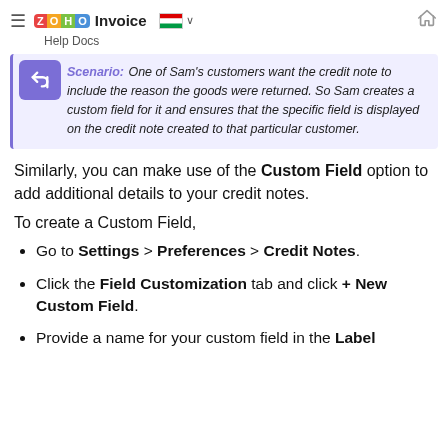ZOHO Invoice | Help Docs
Scenario: One of Sam's customers want the credit note to include the reason the goods were returned. So Sam creates a custom field for it and ensures that the specific field is displayed on the credit note created to that particular customer.
Similarly, you can make use of the Custom Field option to add additional details to your credit notes.
To create a Custom Field,
Go to Settings > Preferences > Credit Notes.
Click the Field Customization tab and click + New Custom Field.
Provide a name for your custom field in the Label Name area.